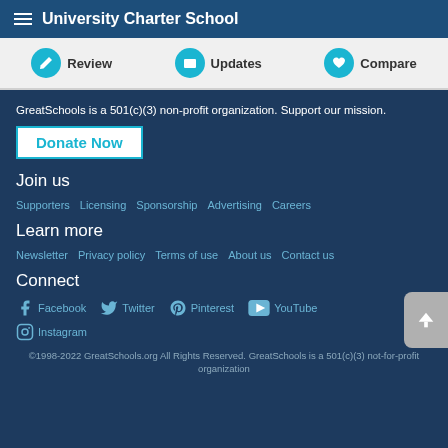University Charter School
Review  Updates  Compare
GreatSchools is a 501(c)(3) non-profit organization. Support our mission.
Donate Now
Join us
Supporters   Licensing   Sponsorship   Advertising   Careers
Learn more
Newsletter   Privacy policy   Terms of use   About us   Contact us
Connect
Facebook   Twitter   Pinterest   YouTube   Instagram
©1998-2022 GreatSchools.org All Rights Reserved. GreatSchools is a 501(c)(3) not-for-profit organization